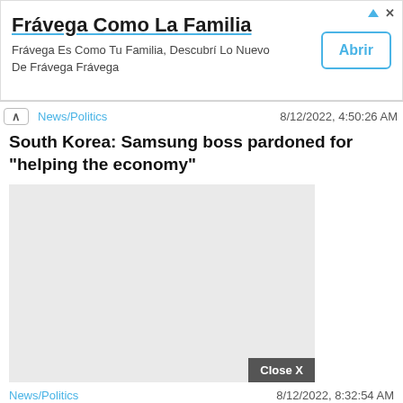[Figure (screenshot): Advertisement banner for Frávega Como La Familia with title, subtitle text, and Abrir button]
News/Politics   8/12/2022, 4:50:26 AM
South Korea: Samsung boss pardoned for "helping the economy"
[Figure (photo): Gray placeholder image with Close X button in bottom right corner]
News/Politics   8/12/2022, 8:32:54 AM
In South Korea, the boss of Samsung pardoned by the president for "helping the